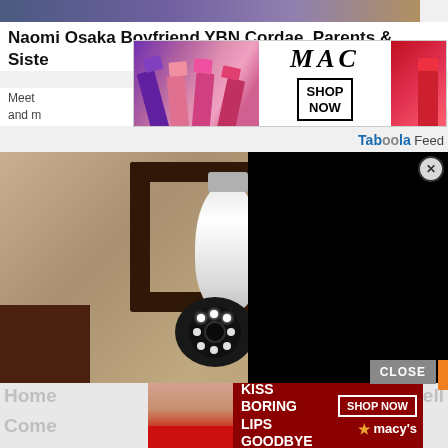[Figure (photo): Top portion of a photo showing people, partially cropped]
Naomi Osaka Boyfriend YBN Cordae, Parents & Sister
Meet ... zing and m...
[Figure (photo): MAC cosmetics advertisement banner showing lipsticks in purple, pink, and red colors with MAC logo and SHOP NOW button]
Taboola Feed
[Figure (photo): Security camera bulb installed in an outdoor wall light fixture on a textured stucco wall, with a black overlay on the right portion and a CLOSE button]
[Figure (photo): Macy's advertisement showing a woman model with red lips, text KISS BORING LIPS GOODBYE and SHOP NOW button with Macy's star logo]
Home ... bell Come...